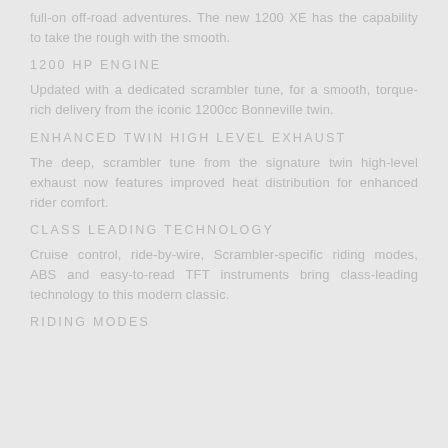full-on off-road adventures. The new 1200 XE has the capability to take the rough with the smooth.
1200 HP ENGINE
Updated with a dedicated scrambler tune, for a smooth, torque-rich delivery from the iconic 1200cc Bonneville twin.
ENHANCED TWIN HIGH LEVEL EXHAUST
The deep, scrambler tune from the signature twin high-level exhaust now features improved heat distribution for enhanced rider comfort.
CLASS LEADING TECHNOLOGY
Cruise control, ride-by-wire, Scrambler-specific riding modes, ABS and easy-to-read TFT instruments bring class-leading technology to this modern classic.
RIDING MODES